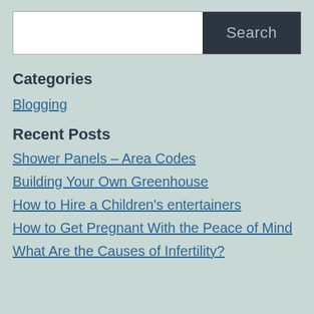[Figure (other): Search bar with white input field and dark navy 'Search' button]
Categories
Blogging
Recent Posts
Shower Panels – Area Codes
Building Your Own Greenhouse
How to Hire a Children's entertainers
How to Get Pregnant With the Peace of Mind
What Are the Causes of Infertility?